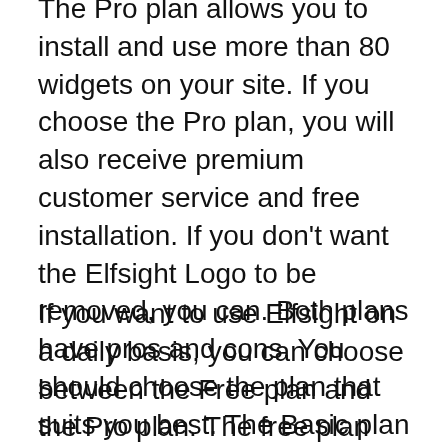The Pro plan allows you to install and use more than 80 widgets on your site. If you choose the Pro plan, you will also receive premium customer service and free installation. If you don't want the Elfsight Logo to be removed, you can. Both plans have pros and cons. You should choose the plan that suits you best. The Basic plan is great for beginners but will limit your ability to add advanced functionality and features.
If you want to use Elfsight on a daily basis, you can choose between the Free plan and the Pro plan. The free plan allows for 200 page views per month. After that, the feed will cease to work. It will notify by email when you have reached the limit. The free plan is available to anyone who wants to test